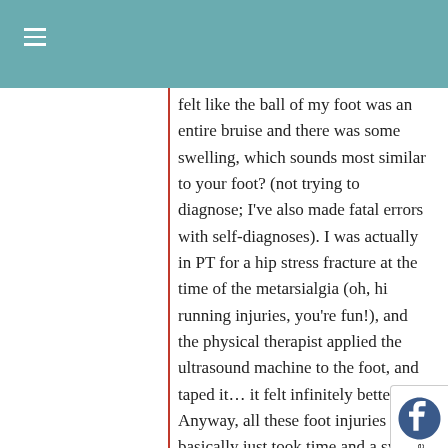felt like the ball of my foot was an entire bruise and there was some swelling, which sounds most similar to your foot? (not trying to diagnose; I've also made fatal errors with self-diagnoses). I was actually in PT for a hip stress fracture at the time of the metarsialgia (oh, hi running injuries, you're fun!), and the physical therapist applied the ultrasound machine to the foot, and taped it… it felt infinitely better. Anyway, all these foot injuries basically just took time and a switch to low-impact activities to heal. and, yeah, seeing a doctor wouldn't be a